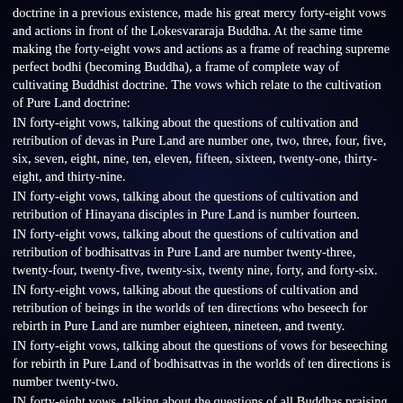doctrine in a previous existence, made his great mercy forty-eight vows and actions in front of the Lokesvararaja Buddha. At the same time making the forty-eight vows and actions as a frame of reaching supreme perfect bodhi (becoming Buddha), a frame of complete way of cultivating Buddhist doctrine. The vows which relate to the cultivation of Pure Land doctrine:
IN forty-eight vows, talking about the questions of cultivation and retribution of devas in Pure Land are number one, two, three, four, five, six, seven, eight, nine, ten, eleven, fifteen, sixteen, twenty-one, thirty-eight, and thirty-nine.
IN forty-eight vows, talking about the questions of cultivation and retribution of Hinayana disciples in Pure Land is number fourteen.
IN forty-eight vows, talking about the questions of cultivation and retribution of bodhisattvas in Pure Land are number twenty-three, twenty-four, twenty-five, twenty-six, twenty nine, forty, and forty-six.
IN forty-eight vows, talking about the questions of cultivation and retribution of beings in the worlds of ten directions who beseech for rebirth in Pure Land are number eighteen, nineteen, and twenty.
IN forty-eight vows, talking about the questions of vows for beseeching for rebirth in Pure Land of bodhisattvas in the worlds of ten directions is number twenty-two.
IN forty-eight vows, talking about the questions of all Buddhas praising the name of Buddha and the benefits of beings in the worlds of ten directions hearing the name of Buddha are number